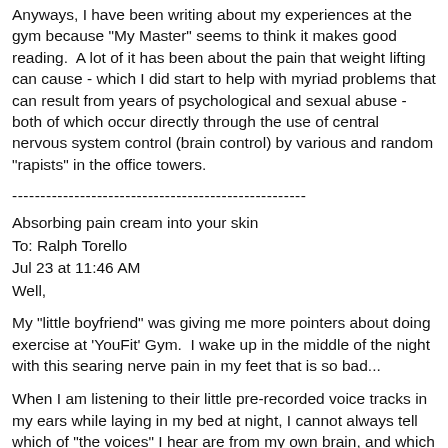Anyways, I have been writing about my experiences at the gym because "My Master" seems to think it makes good reading.  A lot of it has been about the pain that weight lifting can cause - which I did start to help with myriad problems that can result from years of psychological and sexual abuse - both of which occur directly through the use of central nervous system control (brain control) by various and random "rapists" in the office towers.
----------------------------------------------------
Absorbing pain cream into your skin
To: Ralph Torello
Jul 23 at 11:46 AM
Well,
My "little boyfriend" was giving me more pointers about doing exercise at 'YouFit' Gym.  I wake up in the middle of the night with this searing nerve pain in my feet that is so bad...
When I am listening to their little pre-recorded voice tracks in my ears while laying in my bed at night, I cannot always tell which of "the voices" I hear are from my own brain, and which voices and sounds are coming from the speakers that